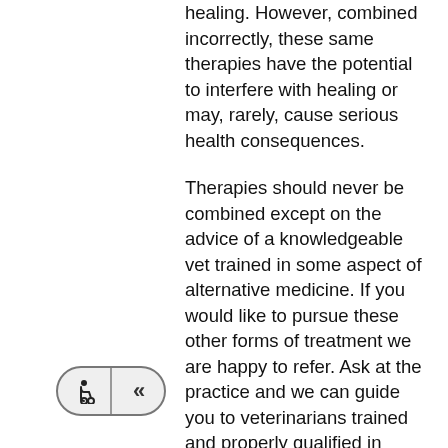healing. However, combined incorrectly, these same therapies have the potential to interfere with healing or may, rarely, cause serious health consequences.
Therapies should never be combined except on the advice of a knowledgeable vet trained in some aspect of alternative medicine. If you would like to pursue these other forms of treatment we are happy to refer. Ask at the practice and we can guide you to veterinarians trained and properly qualified in
[Figure (other): Navigation buttons: wheelchair icon button and double left-arrow («) button, styled as a rounded pill shape]